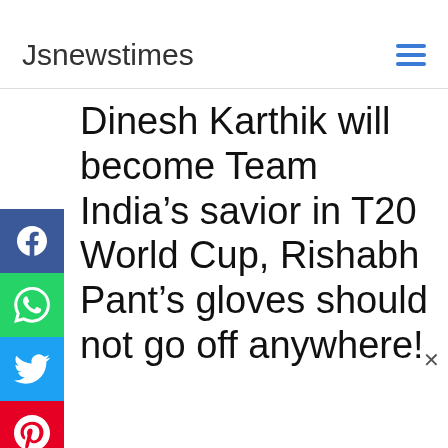Jsnewstimes
Dinesh Karthik will become Team India’s savior in T20 World Cup, Rishabh Pant’s gloves should not go off anywhere!